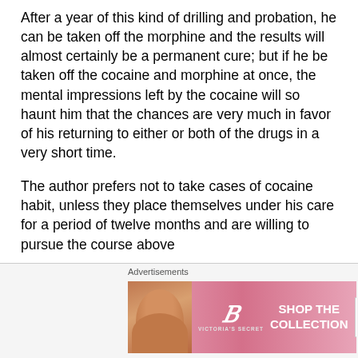After a year of this kind of drilling and probation, he can be taken off the morphine and the results will almost certainly be a permanent cure; but if he be taken off the cocaine and morphine at once, the mental impressions left by the cocaine will so haunt him that the chances are very much in favor of his returning to either or both of the drugs in a very short time.
The author prefers not to take cases of cocaine habit, unless they place themselves under his care for a period of twelve months and are willing to pursue the course above
[Figure (other): Victoria's Secret advertisement banner with a woman's face on the left, VS logo, 'SHOP THE COLLECTION' text in center, and 'SHOP NOW' button on the right. Pink background.]